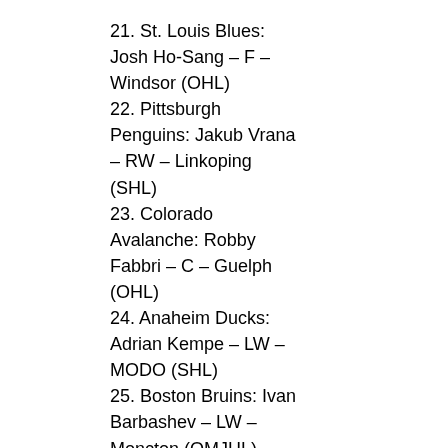21. St. Louis Blues: Josh Ho-Sang – F – Windsor (OHL)
22. Pittsburgh Penguins: Jakub Vrana – RW – Linkoping (SHL)
23. Colorado Avalanche: Robby Fabbri – C – Guelph (OHL)
24. Anaheim Ducks: Adrian Kempe – LW – MODO (SHL)
25. Boston Bruins: Ivan Barbashev – LW – Moncton (QMJHL)
26. Montreal